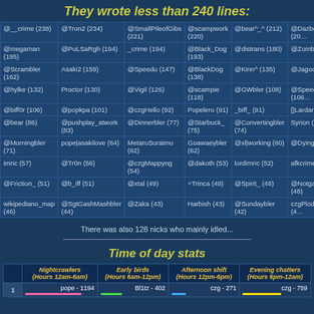They wrote less than 240 lines:
| Col1 | Col2 | Col3 | Col4 | Col5 | Col6 |
| --- | --- | --- | --- | --- | --- |
| @__crime (238) | @Tron2 (234) | @SmallPileofGibs (221) | @scampwork (220) | @bear^_^ (212) | @Dazboot (20… |
| @megaman (195) | @PuLSaRgh (194) | _crime (194) | @Black_Dog (193) | @distrans (180) | @Zombie` (16… |
| @Scrambler (162) | Asaki2 (159) | @Speedu (147) | @BlackDog (138) | @Kinn^ (135) | @Jagoo (134) |
| @hylke (132) | Proctor (130) | @Vigil (126) | @scampie (118) | @GWbler (108) | @Speeds (106… |
| @biff0r (106) | @popkpa (101) | @czgHello (92) | Popelero (91) | _biff_ (91) | []Lardarse (87… |
| @bear (86) | @pushplay_atwork (83) | @Dinnerbler (77) | @Starbuck_ (75) | @Convertingbler (74) | Syrion (71) |
| @Morningbler (71) | pope|asakilove (64) | MetaruSuraimu (62) | Goawaeybler (62) | @xl|working (60) | @Dyingbler (5… |
| imric (57) | @Tr0n (56) | @czgMappyng (54) | @dakoth (53) | lordimric (52) | afkcrime (52) |
| @Friction_ (51) | @b_iff (51) | @xtal (49) | +Trinca (49) | @Spirit_ (48) | @Notgamingb… (48) |
| wikipediano_map (46) | @SgtGashMashbler (44) | @Zaka (43) | Harbish (43) | @Sundaybler (42) | czgPlodding (4… |
There was also 128 nicks who mainly idled...
Time of day stats
|  | Nightcrawlers (Hours 12am-6am) | Early birds (Hours 6am-12pm) | Afternoon shift (Hours 12pm-6pm) | Evening chatters (Hours 6pm-12am) |
| --- | --- | --- | --- | --- |
| 1 | pope - 1194 | Bl1tz - 402 | czg - 271 | czg - 759 |